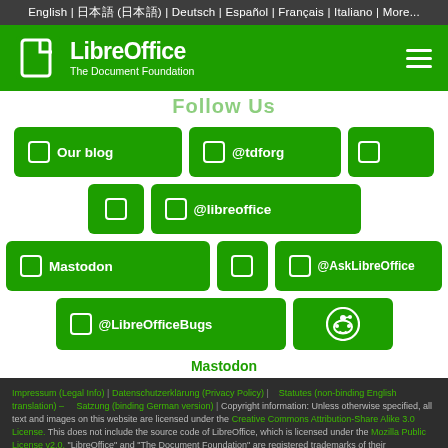English | 日本語 (日本語) | Deutsch | Español | Français | Italiano | More...
[Figure (logo): LibreOffice logo with white document icon and text 'LibreOffice / The Document Foundation' on green background with hamburger menu]
Follow Us
[Figure (infographic): Social media buttons: Our blog, @tdforg, @libreoffice, [icon], Mastodon, [icon], @AskLibreOffice, @LibreOfficeBugs, Reddit icon — all green rounded buttons]
Mastodon
Impressum (Legal Info) | Datenschutzerklärung (Privacy Policy) | Statutes (non-binding English translation) – Satzung (binding German version) | Copyright information: Unless otherwise specified, all text and images on this website are licensed under the Creative Commons Attribution-Share Alike 3.0 License. This does not include the source code of LibreOffice, which is licensed under the Mozilla Public License v2.0. "LibreOffice" and "The Document Foundation" are registered trademarks of their corresponding registered owners or are in actual use as trademarks in one or more countries. Their respective logos and icons are also subject to international